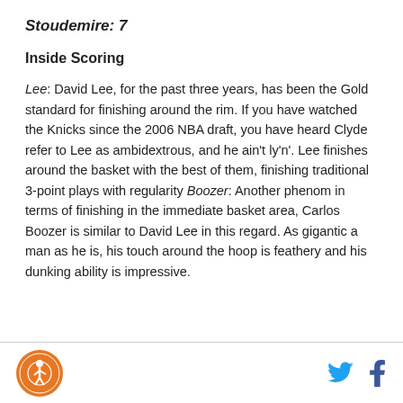Stoudemire: 7
Inside Scoring
Lee: David Lee, for the past three years, has been the Gold standard for finishing around the rim. If you have watched the Knicks since the 2006 NBA draft, you have heard Clyde refer to Lee as ambidextrous, and he ain't ly'n'. Lee finishes around the basket with the best of them, finishing traditional 3-point plays with regularity Boozer: Another phenom in terms of finishing in the immediate basket area, Carlos Boozer is similar to David Lee in this regard. As gigantic a man as he is, his touch around the hoop is feathery and his dunking ability is impressive.
Logo and social media icons